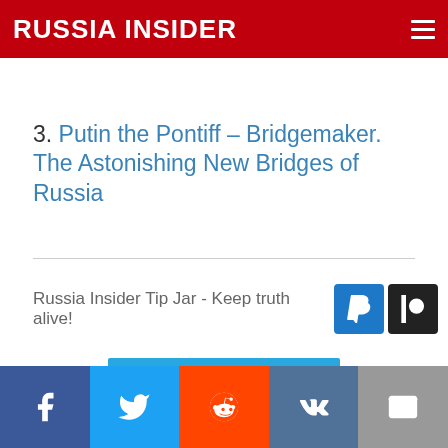RUSSIA INSIDER
3. Putin the Pontiff – Bridgemaker. The Astonishing New Bridges of Russia
Russia Insider Tip Jar - Keep truth alive!
[Figure (other): Advertisement banner with blue sky and clouds background]
Support Russia Insider - Go Ad-Free!
This post first appeared on Russia Insider